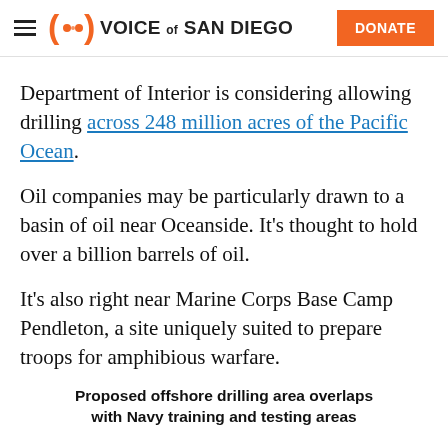Voice of San Diego | DONATE
Department of Interior is considering allowing drilling across 248 million acres of the Pacific Ocean.
Oil companies may be particularly drawn to a basin of oil near Oceanside. It’s thought to hold over a billion barrels of oil.
It’s also right near Marine Corps Base Camp Pendleton, a site uniquely suited to prepare troops for amphibious warfare.
Proposed offshore drilling area overlaps with Navy training and testing areas